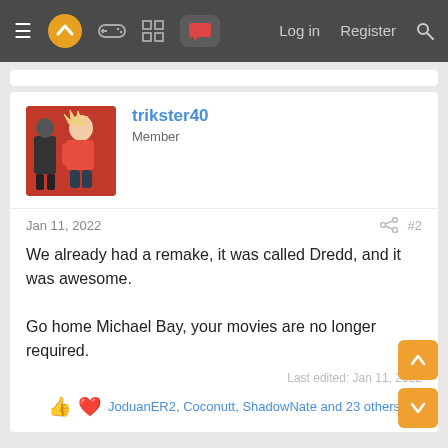≡ [logo] [gamepad] [grid] [chat] Log in Register [search]
trikster40
Member
Jan 11, 2022  #2
We already had a remake, it was called Dredd, and it was awesome.

Go home Michael Bay, your movies are no longer required.
Last edited: Jan 11, 2022
JoduanER2, Coconutt, ShadowNate and 23 others